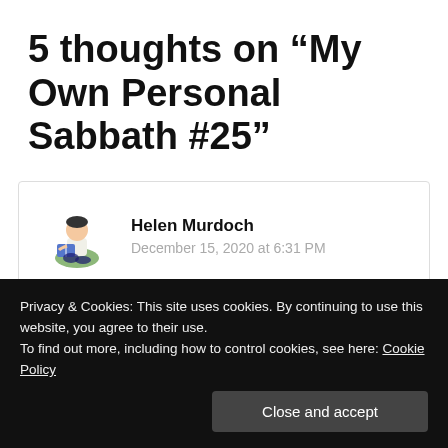5 thoughts on “My Own Personal Sabbath #25”
Helen Murdoch
December 15, 2020 at 6:31 PM
It’s such a great idea to set aside time for meditation each day. I’m impressed that you are
Privacy & Cookies: This site uses cookies. By continuing to use this website, you agree to their use.
To find out more, including how to control cookies, see here: Cookie Policy
Close and accept